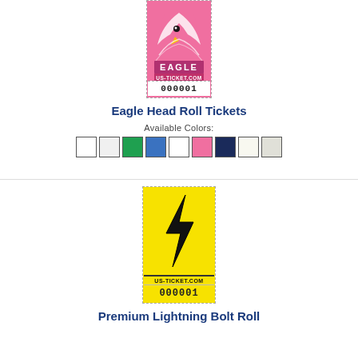[Figure (illustration): Eagle Head Roll Ticket in pink/hot pink color with eagle graphic, EAGLE text, US-TICKET.COM text, and serial number 000001]
Eagle Head Roll Tickets
Available Colors:
[Figure (illustration): Row of 9 color swatches: white, white/light, green, blue, white, pink, dark navy, white/cream, light gray]
[Figure (illustration): Premium Lightning Bolt Roll Ticket in yellow with black lightning bolt graphic, US-TICKET.COM text, and serial number 000001]
Premium Lightning Bolt Roll